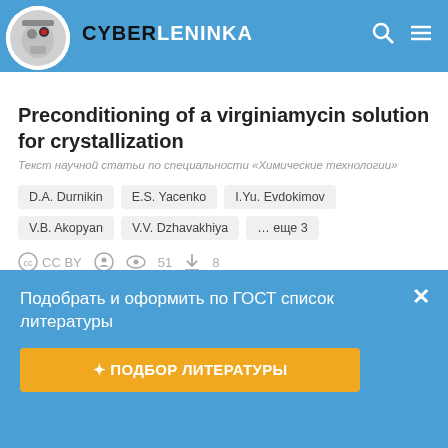CYBERLENINKA
Preconditioning of a virginiamycin solution for crystallization
Текст научной статьи по специальности «Химические технологии»
D.A. Durnikin
E.S. Yacenko
I.Yu. Evdokimov
V.B. Akopyan
V.V. Dzhavakhiya
… еще 3
CC BY  51  8
👍 0
Подобрать и оформить по ГОСТ список литературы
✦ ПОДБОР ЛИТЕРАТУРЫ